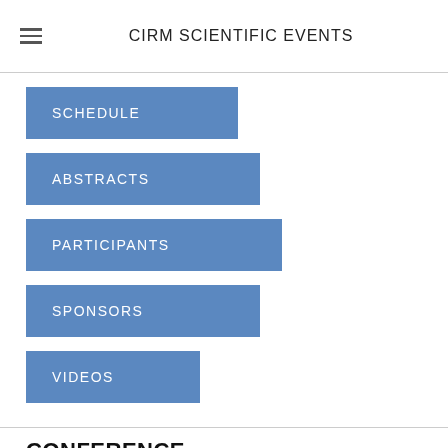CIRM SCIENTIFIC EVENTS
SCHEDULE
ABSTRACTS
PARTICIPANTS
SPONSORS
VIDEOS
CONFERENCE